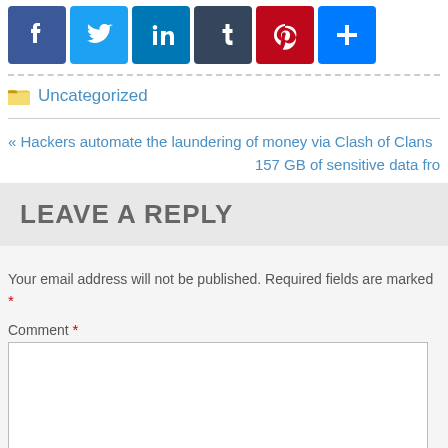[Figure (infographic): Social share buttons: Facebook (blue), Twitter (light blue), LinkedIn (dark blue), Tumblr (dark slate), Pinterest (red), and a plus/share button (blue)]
Uncategorized
« Hackers automate the laundering of money via Clash of Clans
157 GB of sensitive data fro
LEAVE A REPLY
Your email address will not be published. Required fields are marked *
Comment *
Name *